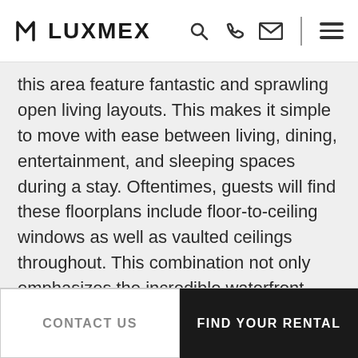M LUXMEX
this area feature fantastic and sprawling open living layouts. This makes it simple to move with ease between living, dining, entertainment, and sleeping spaces during a stay. Oftentimes, guests will find these floorplans include floor-to-ceiling windows as well as vaulted ceilings throughout. This combination not only emphasizes the incredible waterfront view but allows ample light flow to flood the floorplan during the sunny daytime hours and enhances the overall sense of living space available to guests.

The LuxMex dedication to quality and comfort
CONTACT US | FIND YOUR RENTAL